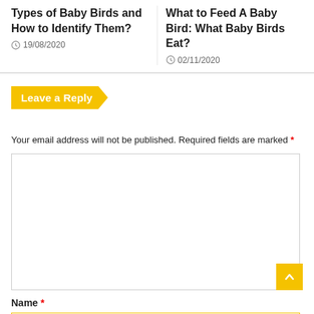Types of Baby Birds and How to Identify Them?
19/08/2020
What to Feed A Baby Bird: What Baby Birds Eat?
02/11/2020
Leave a Reply
Your email address will not be published. Required fields are marked *